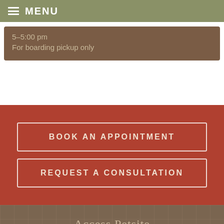MENU
5–5:00 pm
For boarding pickup only
BOOK AN APPOINTMENT
REQUEST A CONSULTATION
Access Petsite
[Figure (logo): PetSites Login button with laptop and paw icon on red rounded rectangle background]